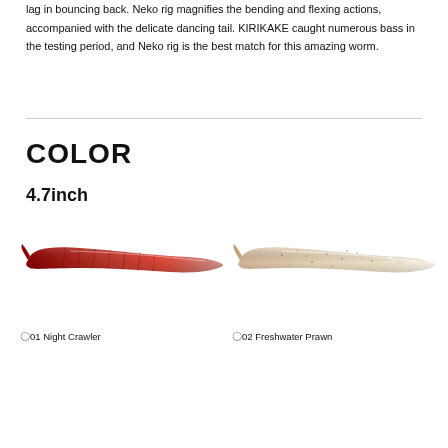lag in bouncing back. Neko rig magnifies the bending and flexing actions, accompanied with the delicate dancing tail. KIRIKAKE caught numerous bass in the testing period, and Neko rig is the best match for this amazing worm.
COLOR
4.7inch
[Figure (photo): Red/dark red fishing worm lure labeled 〇01 Night Crawler]
〇01 Night Crawler
[Figure (photo): Beige/white speckled fishing worm lure labeled 〇02 Freshwater Prawn]
〇02 Freshwater Prawn